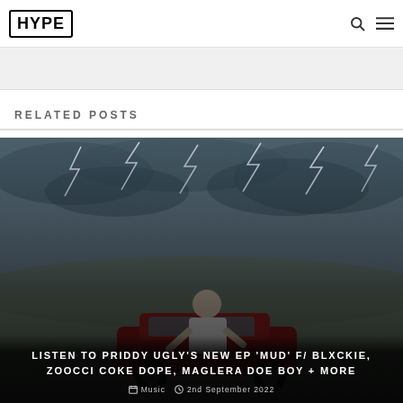HYPE
RELATED POSTS
[Figure (photo): A person leaning on a red BMW car with a dramatic stormy sky and lightning in the background.]
LISTEN TO PRIDDY UGLY'S NEW EP 'MUD' F/ BLXCKIE, ZOOCCI COKE DOPE, MAGLERA DOE BOY + MORE
Music  2nd September 2022